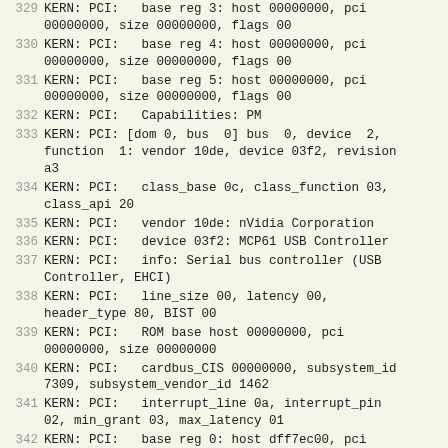329 KERN: PCI:   base reg 3: host 00000000, pci 00000000, size 00000000, flags 00
330 KERN: PCI:   base reg 4: host 00000000, pci 00000000, size 00000000, flags 00
331 KERN: PCI:   base reg 5: host 00000000, pci 00000000, size 00000000, flags 00
332 KERN: PCI:   Capabilities: PM
333 KERN: PCI: [dom 0, bus  0] bus  0, device  2, function  1: vendor 10de, device 03f2, revision a3
334 KERN: PCI:   class_base 0c, class_function 03, class_api 20
335 KERN: PCI:   vendor 10de: nVidia Corporation
336 KERN: PCI:   device 03f2: MCP61 USB Controller
337 KERN: PCI:   info: Serial bus controller (USB Controller, EHCI)
338 KERN: PCI:   line_size 00, latency 00, header_type 80, BIST 00
339 KERN: PCI:   ROM base host 00000000, pci 00000000, size 00000000
340 KERN: PCI:   cardbus_CIS 00000000, subsystem_id 7309, subsystem_vendor_id 1462
341 KERN: PCI:   interrupt_line 0a, interrupt_pin 02, min_grant 03, max_latency 01
342 KERN: PCI:   base reg 0: host dff7ec00, pci dff7ec00, size 00000100, flags 00
343 KERN: PCI:   base reg 1: host 00000000, pci 00000000, size 00000000, flags 00